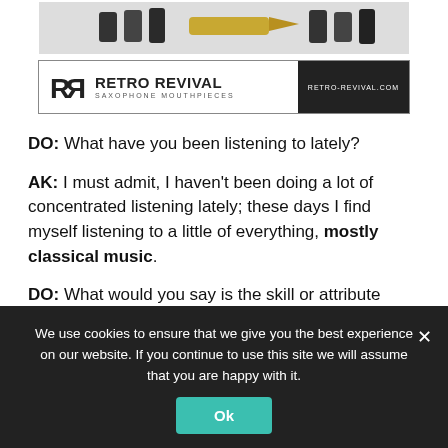[Figure (photo): Photo strip of saxophone mouthpieces and accessories at the top of the page]
[Figure (logo): Retro Revival Saxophone Mouthpieces advertisement banner with logo and website retro-revival.com]
DO: What have you been listening to lately?
AK: I must admit, I haven't been doing a lot of concentrated listening lately; these days I find myself listening to a little of everything, mostly classical music.
DO: What would you say is the skill or attribute that's helped you the most as a musician?
AK: I've always been a good reader, though I don't know
We use cookies to ensure that we give you the best experience on our website. If you continue to use this site we will assume that you are happy with it.